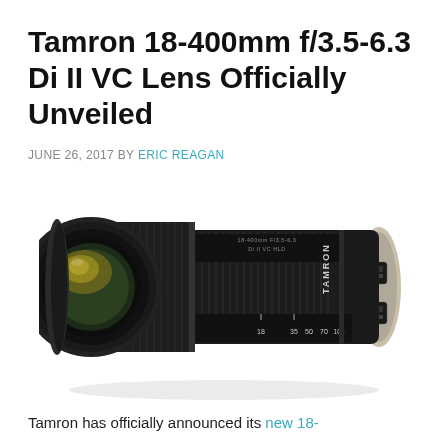Tamron 18-400mm f/3.5-6.3 Di II VC Lens Officially Unveiled
JUNE 26, 2017 BY ERIC REAGAN
[Figure (photo): Photo of the Tamron 18-400mm f/3.5-6.3 Di II VC HLD lens, shown at 18mm focal length, black barrel with zoom ring markings at 18, 35, 50, 70, 100mm, Tamron branding on the side, gold/yellow front element visible.]
Tamron has officially announced its new 18-